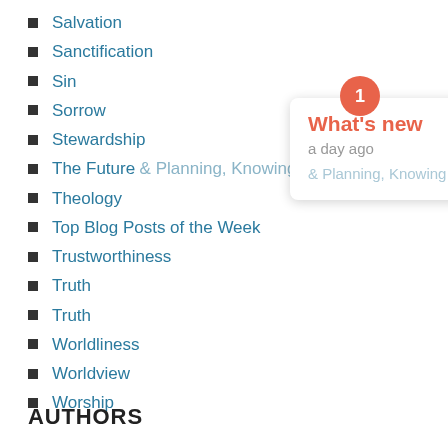Salvation
Sanctification
Sin
Sorrow
Stewardship
The Future & Planning, Knowing God's Will
Theology
Top Blog Posts of the Week
Trustworthiness
Truth
Truth
Worldliness
Worldview
Worship
[Figure (screenshot): Tooltip popup with badge '1', title 'What's new', subtitle 'a day ago', and description '& Planning, Knowing God's Will']
AUTHORS